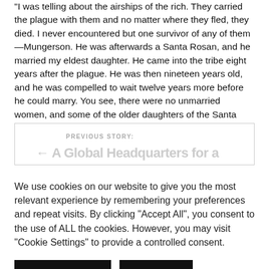“I was telling about the airships of the rich. They carried the plague with them and no matter where they fled, they died. I never encountered but one survivor of any of them—Mungerson. He was afterwards a Santa Rosan, and he married my eldest daughter. He came into the tribe eight years after the plague. He was then nineteen years old, and he was compelled to wait twelve years more before he could marry. You see, there were no unmarried women, and some of the older daughters of the Santa Rosans were already bespoken. So he was forced to wait until my Mary had grown to sixteen years. It was his son, Gimp-Leg, who was killed last year by the mountain lion.
PREVIOUS STORY:
We use cookies on our website to give you the most relevant experience by remembering your preferences and repeat visits. By clicking “Accept All”, you consent to the use of ALL the cookies. However, you may visit “Cookie Settings” to provide a controlled consent.